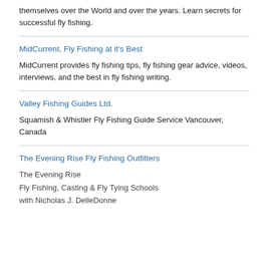themselves over the World and over the years. Learn secrets for successful fly fishing.
MidCurrent, Fly Fishing at it's Best
MidCurrent provides fly fishing tips, fly fishing gear advice, videos, interviews, and the best in fly fishing writing.
Valley Fishing Guides Ltd.
Squamish & Whistler Fly Fishing Guide Service Vancouver, Canada
The Evening Rise Fly Fishing Outfitters
The Evening Rise
Fly Fishing, Casting & Fly Tying Schools
with Nicholas J. DelleDonne